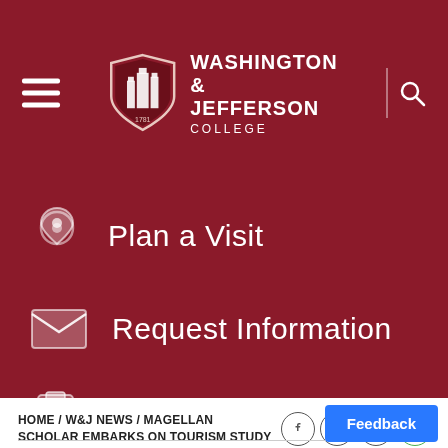[Figure (logo): Washington & Jefferson College logo with shield and text on dark red header]
Plan a Visit
Request Information
Apply Now
HOME / W&J NEWS / MAGELLAN SCHOLAR EMBARKS ON TOURISM STUDY IN HAWAII
[Figure (other): Social share buttons: Facebook, Twitter, LinkedIn, WhatsApp, Email, Print]
Feedback